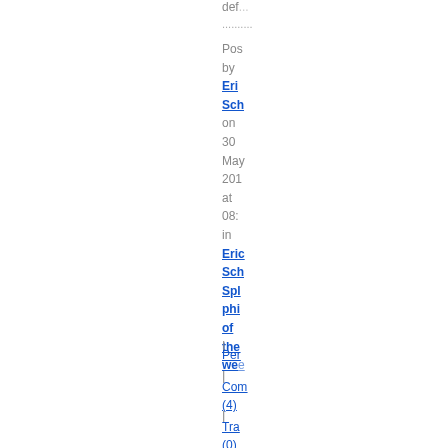def...
.......... Posted by Eric Sch on 30 May 201 at 08: in Eric Sch Spl phi of the we
| Per
| Com (4)
| Tra (0)
[Figure (screenshot): Small green icon/logo button]
| (cursor)
[Figure (screenshot): Small icon/thumbnail at bottom]